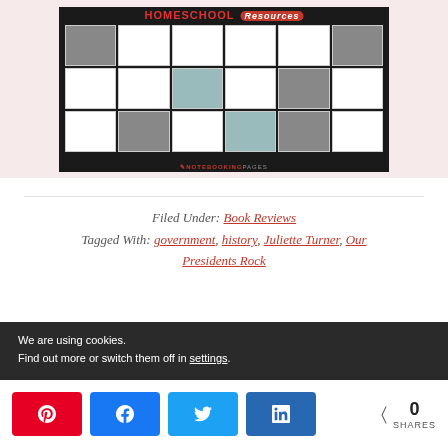[Figure (illustration): Homeschool Resources collage image showing multiple worksheet pages arranged in a grid on a dark background, with 'HOMESCHOOL Resources' text in red at the top and 'NOTEBOOKINGPAGES' branding at the bottom]
Filed Under: Book Reviews
Tagged With: government, history, Juliette Turner, Our Presidents Rock
We are using cookies.
Find out more or switch them off in settings.
0
SHARES